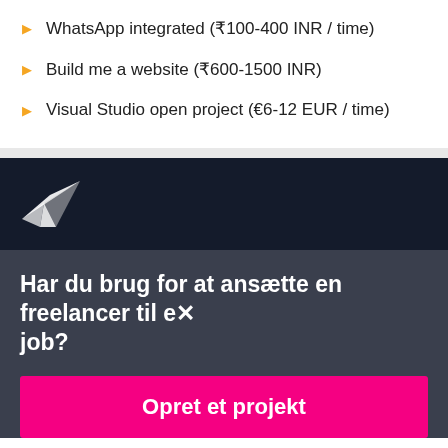WhatsApp integrated (₹100-400 INR / time)
Build me a website (₹600-1500 INR)
Visual Studio open project (€6-12 EUR / time)
[Figure (logo): Freelancer.com white bird/paper-plane logo on dark navy background]
Har du brug for at ansætte en freelancer til et job?
Opret et projekt